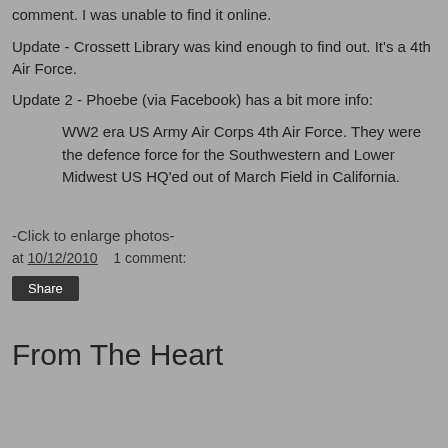comment. I was unable to find it online.
Update - Crossett Library was kind enough to find out. It's a 4th Air Force.
Update 2 - Phoebe (via Facebook) has a bit more info:
WW2 era US Army Air Corps 4th Air Force. They were the defence force for the Southwestern and Lower Midwest US HQ'ed out of March Field in California.
-Click to enlarge photos-
at 10/12/2010   1 comment:
Share
From The Heart